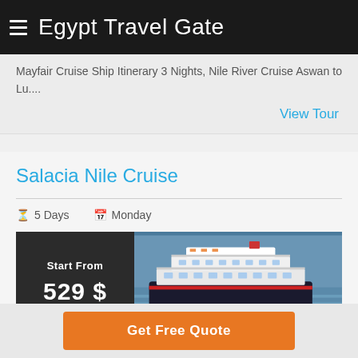Egypt Travel Gate
Mayfair Cruise Ship Itinerary 3 Nights, Nile River Cruise Aswan to Lu....
View Tour
Salacia Nile Cruise
5 Days   Monday
Start From
529 $
[Figure (photo): Aerial view of a white Nile cruise ship on the river]
Enjoy Cruising The Nile With Our Best Nile Cruises 5 Days
Get Free Quote